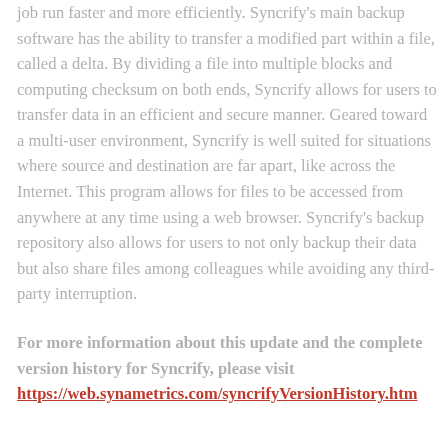job run faster and more efficiently. Syncrify's main backup software has the ability to transfer a modified part within a file, called a delta. By dividing a file into multiple blocks and computing checksum on both ends, Syncrify allows for users to transfer data in an efficient and secure manner. Geared toward a multi-user environment, Syncrify is well suited for situations where source and destination are far apart, like across the Internet. This program allows for files to be accessed from anywhere at any time using a web browser. Syncrify's backup repository also allows for users to not only backup their data but also share files among colleagues while avoiding any third-party interruption.
For more information about this update and the complete version history for Syncrify, please visit https://web.synametrics.com/syncrifyVersionHistory.htm